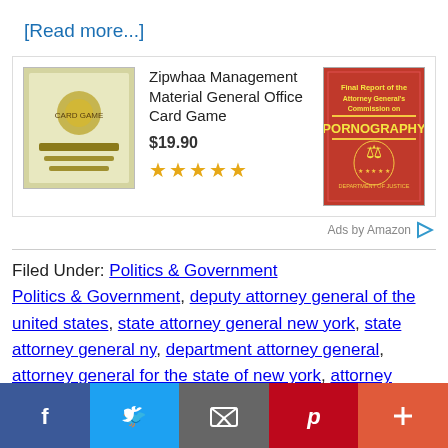[Read more...]
[Figure (other): Amazon advertisement box with two book covers: 'Zipwhaa Management Material General Office Card Game' priced at $19.90 with 5 stars, and a red book about Attorney General's Commission on Pornography. 'Ads by Amazon' label at bottom right.]
Filed Under: Politics & Government Politics & Government, deputy attorney general of the united states, state attorney general new york, state attorney general ny, department attorney general, attorney general for the state of new york, attorney
[Figure (other): Social media share bar at bottom with Facebook, Twitter, Email, Pinterest, and More (+) buttons.]